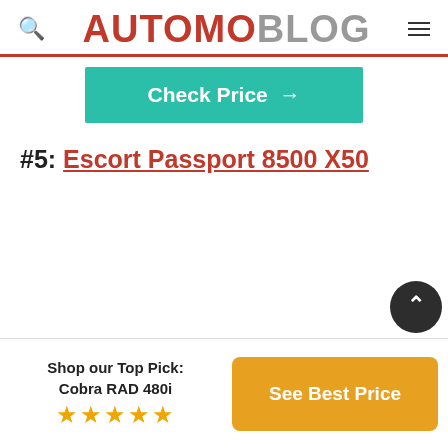AUTOMOBLOG
[Figure (other): Teal/green button labeled 'Check Price →']
#5: Escort Passport 8500 X50
Shop our Top Pick: Cobra RAD 480i ★★★★★
[Figure (other): Orange button labeled 'See Best Price']